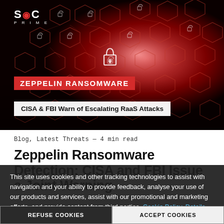[Figure (photo): Hero image showing cybersecurity themed graphic with hexagonal network of padlock icons on a red/dark background, with SOC PRIME logo in top left corner, red banner 'ZEPPELIN RANSOMWARE' and white subtitle bar 'CISA & FBI Warn of Escalating RaaS Attacks']
Blog, Latest Threats — 4 min read
Zeppelin Ransomware Detection: CISA and FBI Issue a Joint Warning
This site uses cookies and other tracking technologies to assist with navigation and your ability to provide feedback, analyse your use of our products and services, assist with our promotional and marketing efforts, and provide content from third parties. Cookie Policy. Details
REFUSE COOKIES
ACCEPT COOKIES